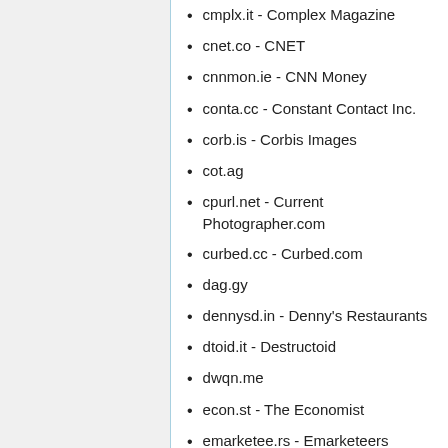cmplx.it - Complex Magazine
cnet.co - CNET
cnnmon.ie - CNN Money
conta.cc - Constant Contact Inc.
corb.is - Corbis Images
cot.ag
cpurl.net - Current Photographer.com
curbed.cc - Curbed.com
dag.gy
dennysd.in - Denny's Restaurants
dtoid.it - Destructoid
dwqn.me
econ.st - The Economist
emarketee.rs - Emarketeers
engri.sh - Engrish.com
eonli.ne - E! Online
es.pn - ESPN
fakes.pn - The Fake ESPN (at lockerdome.com)